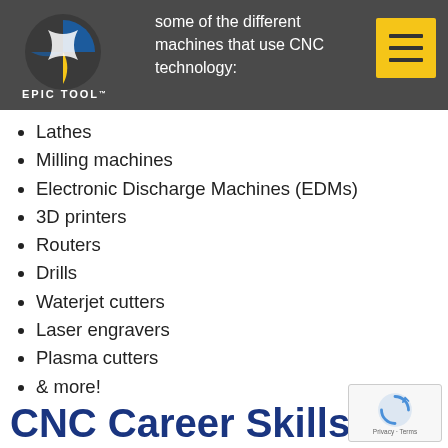some of the different machines that use CNC technology:
[Figure (logo): Epic Tool logo — circular gear/cog design in blue, yellow, white with text EPIC TOOL below]
Lathes
Milling machines
Electronic Discharge Machines (EDMs)
3D printers
Routers
Drills
Waterjet cutters
Laser engravers
Plasma cutters
& more!
CNC Career Skills